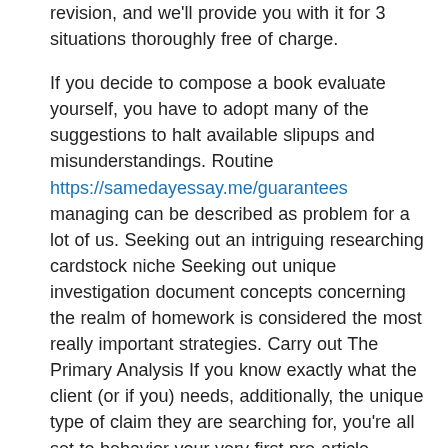revision, and we'll provide you with it for 3 situations thoroughly free of charge.
If you decide to compose a book evaluate yourself, you have to adopt many of the suggestions to halt available slipups and misunderstandings. Routine https://samedayessay.me/guarantees managing can be described as problem for a lot of us. Seeking out an intriguing researching cardstock niche Seeking out unique investigation document concepts concerning the realm of homework is considered the most really important strategies. Carry out The Primary Analysis If you know exactly what the client (or if you) needs, additionally, the unique type of claim they are searching for, you're all set to behavior your very first pre-article research. All you have to do when requesting us to create my insider report is always to say